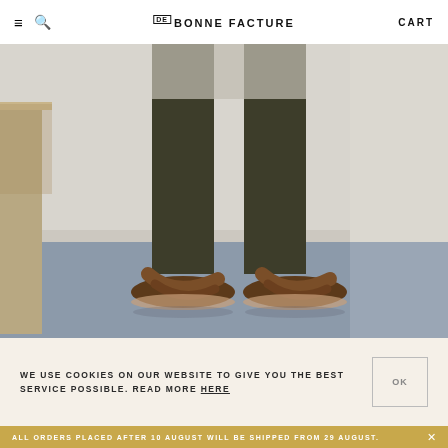≡  🔍   DE BONNE FACTURE   CART
[Figure (photo): Lower legs of a person wearing dark olive trousers and brown leather cross-strap sandals, standing on a grey-blue painted floor, next to a wooden stool leg. Background is a white wall.]
WE USE COOKIES ON OUR WEBSITE TO GIVE YOU THE BEST SERVICE POSSIBLE. READ MORE HERE
ALL ORDERS PLACED AFTER 10 AUGUST WILL BE SHIPPED FROM 29 AUGUST.